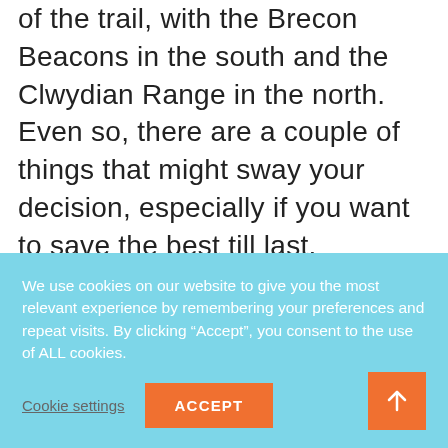of the trail, with the Brecon Beacons in the south and the Clwydian Range in the north. Even so, there are a couple of things that might sway your decision, especially if you want to save the best till last.
[Figure (photo): Partial view of trees with green foliage against a light sky, partially obscured by cookie banner overlay]
We use cookies on our website to give you the most relevant experience by remembering your preferences and repeat visits. By clicking “Accept”, you consent to the use of ALL cookies.